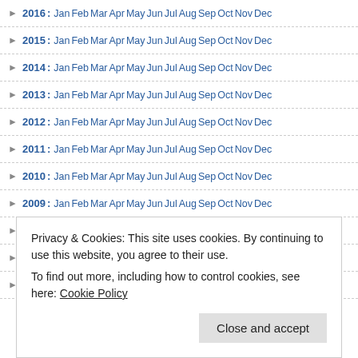2016: Jan Feb Mar Apr May Jun Jul Aug Sep Oct Nov Dec
2015: Jan Feb Mar Apr May Jun Jul Aug Sep Oct Nov Dec
2014: Jan Feb Mar Apr May Jun Jul Aug Sep Oct Nov Dec
2013: Jan Feb Mar Apr May Jun Jul Aug Sep Oct Nov Dec
2012: Jan Feb Mar Apr May Jun Jul Aug Sep Oct Nov Dec
2011: Jan Feb Mar Apr May Jun Jul Aug Sep Oct Nov Dec
2010: Jan Feb Mar Apr May Jun Jul Aug Sep Oct Nov Dec
2009: Jan Feb Mar Apr May Jun Jul Aug Sep Oct Nov Dec
2008: Jan Feb Mar Apr May Jun Jul Aug Sep Oct Nov Dec
2007: Jan Feb Mar Apr May Jun Jul Aug Sep Oct Nov Dec
2006: Jan Feb Mar Apr May Jun Jul Aug Sep Oct Nov Dec
Privacy & Cookies: This site uses cookies. By continuing to use this website, you agree to their use. To find out more, including how to control cookies, see here: Cookie Policy